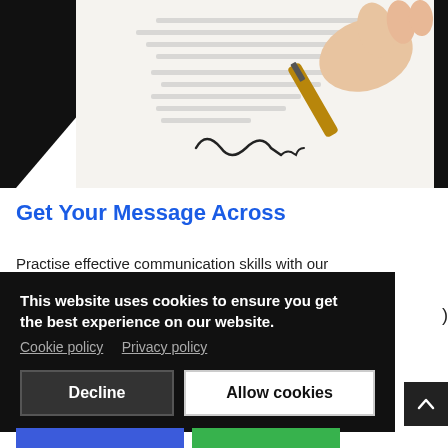[Figure (photo): A hand holding a pen signing a document on white paper, photographed against a black background. The document shows Lorem Ipsum-style text and a handwritten signature.]
Get Your Message Across
Practise effective communication skills with our
This website uses cookies to ensure you get the best experience on our website.
Cookie policy   Privacy policy
[Decline] [Allow cookies]